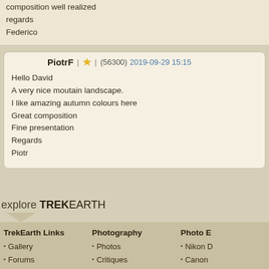composition well realized
regards
Federico
PiotrF (56300) 2019-09-29 15:15
Hello David
A very nice moutain landscape.
I like amazing autumn colours here
Great composition
Fine presentation
Regards
Piotr
explore TREKEARTH
TrekEarth Links
Gallery
Forums
Members
About
RSS Feeds
Photography
Photos
Critiques
Themes
Categories
Workshops
Photo E
Nikon D
Canon
Canon
Nikon D
Panase